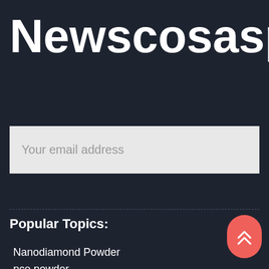Newscosasperu
Your email address
Popular Topics:
Nanodiamond Powder
pce powder